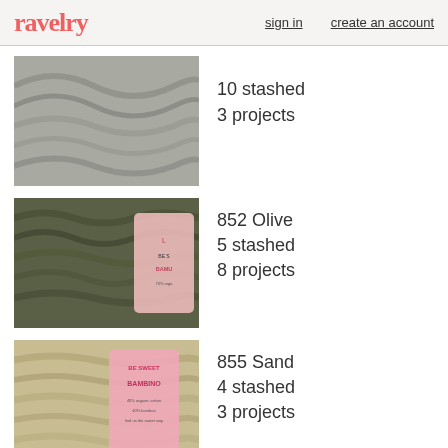ravelry  sign in  create an account
10 stashed
3 projects
852 Olive
5 stashed
8 projects
855 Sand
4 stashed
3 projects
862 Coral
9 stashed
4 projects
866 Magenta